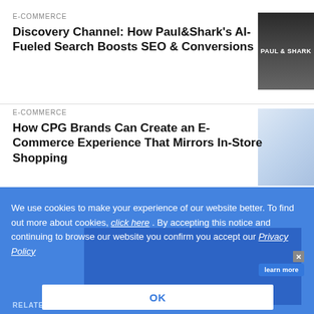E-COMMERCE
Discovery Channel: How Paul&Shark's AI-Fueled Search Boosts SEO & Conversions
[Figure (photo): Paul & Shark store sign photo]
E-COMMERCE
How CPG Brands Can Create an E-Commerce Experience That Mirrors In-Store Shopping
[Figure (photo): Person using laptop with digital icons overlay]
We use cookies to make your experience of our website better. To find out more about cookies, click here . By accepting this notice and continuing to browse our website you confirm you accept our Privacy Policy
OK
RELATED TOPICS